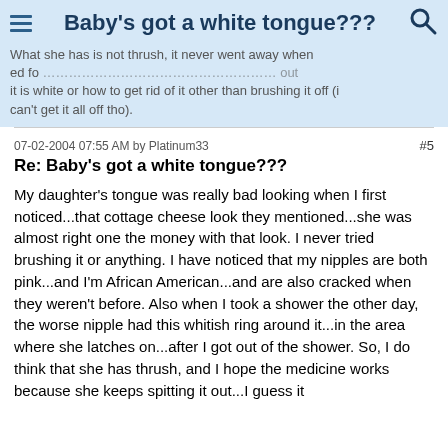Baby's got a white tongue???
What she has is not thrush, it never went away when treated for... tongue out it is white or how to get rid of it other than brushing it off (i can't get it all off tho).
07-02-2004 07:55 AM by Platinum33  #5
Re: Baby's got a white tongue???
My daughter's tongue was really bad looking when I first noticed...that cottage cheese look they mentioned...she was almost right one the money with that look. I never tried brushing it or anything. I have noticed that my nipples are both pink...and I'm African American...and are also cracked when they weren't before. Also when I took a shower the other day, the worse nipple had this whitish ring around it...in the area where she latches on...after I got out of the shower. So, I do think that she has thrush, and I hope the medicine works because she keeps spitting it out...I guess it